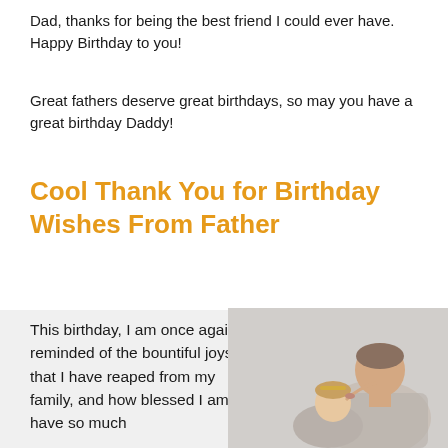Dad, thanks for being the best friend I could ever have. Happy Birthday to you!
Great fathers deserve great birthdays, so may you have a great birthday Daddy!
Cool Thank You for Birthday Wishes From Father
This birthday, I am once again reminded of the bountiful joys that I have reaped from my family, and how blessed I am to have so much
[Figure (photo): A father kissing his young daughter on the head, both sharing a tender moment against a light background.]